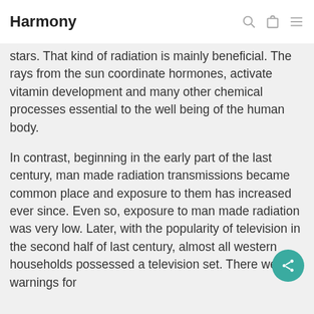Harmony
stars. That kind of radiation is mainly beneficial. The rays from the sun coordinate hormones, activate vitamin development and many other chemical processes essential to the well being of the human body.
In contrast, beginning in the early part of the last century, man made radiation transmissions became common place and exposure to them has increased ever since. Even so, exposure to man made radiation was very low. Later, with the popularity of television in the second half of last century, almost all western households possessed a television set. There were warnings for